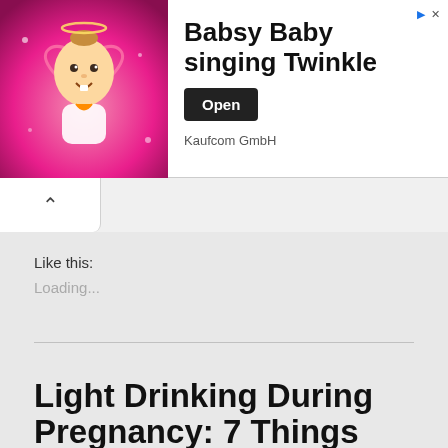[Figure (screenshot): Advertisement banner for 'Babsy Baby singing Twinkle' by Kaufcom GmbH, showing an animated baby character against a pink background, with an 'Open' button.]
Like this:
Loading...
March 11, 2016 / Miscellaneous / chances of miscarriage, miscarriage risk, morning sickness, nausea, pregnancy loss, pregnancy week, vomiting / 49 Comments
Light Drinking During Pregnancy: 7 Things You